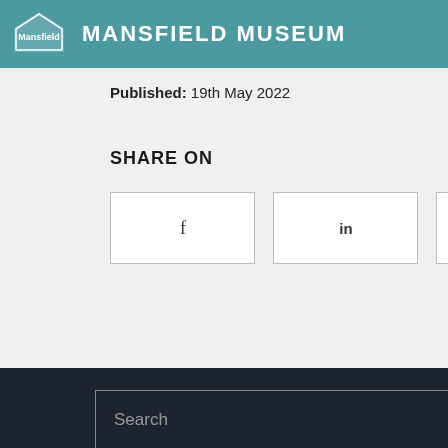MANSFIELD MUSEUM
Published: 19th May 2022
SHARE ON
[Figure (other): Social share buttons: Facebook (f), LinkedIn (in), Twitter (bird icon)]
© MANSFIELD MUSEUM  DESIGN: HTML5 UP